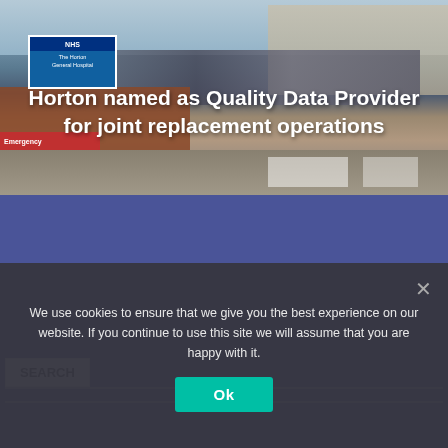[Figure (photo): Exterior photograph of The Horton General Hospital with parking area, road markings, brick wall, and NHS sign visible]
Horton named as Quality Data Provider for joint replacement operations
SEARCH
We use cookies to ensure that we give you the best experience on our website. If you continue to use this site we will assume that you are happy with it.